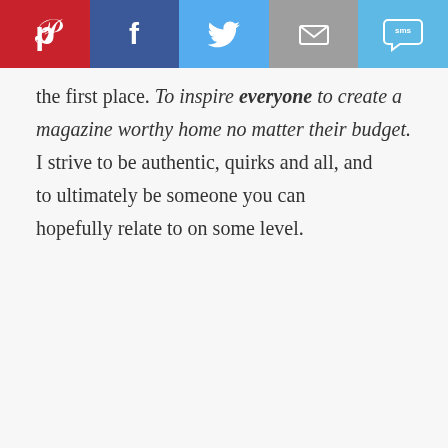[Figure (screenshot): Social sharing toolbar with Pinterest (red), Facebook (dark blue), Twitter (light blue), Email/envelope (grey), SMS (light blue) buttons]
the first place. To inspire everyone to create a magazine worthy home no matter their budget. I strive to be authentic, quirks and all, and to ultimately be someone you can hopefully relate to on some level.